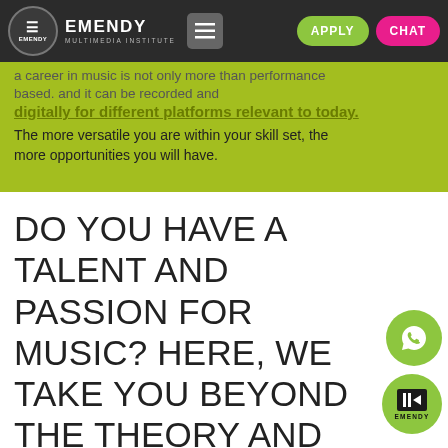[Figure (screenshot): Emendy Multimedia Institute navigation bar with logo, hamburger menu, APPLY button, and CHAT button on dark background]
a career in music is not only more than performance based. and it can be recorded and digitally for different platforms relevant to today.
The more versatile you are within your skill set, the more opportunities you will have.
DO YOU HAVE A TALENT AND PASSION FOR MUSIC? HERE, WE TAKE YOU BEYOND THE THEORY AND PLACE EMPHASIS ON YOUR PRACTICAL SKILLS SO THAT YOU BECOME IRREPLACEABLE WITHIN THE INDUSTRY.